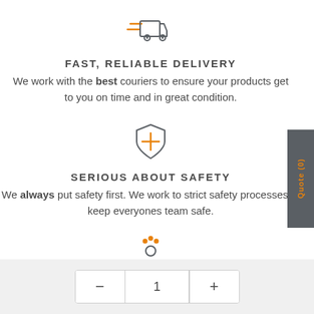[Figure (illustration): Orange and gray delivery truck icon with speed lines]
FAST, RELIABLE DELIVERY
We work with the best couriers to ensure your products get to you on time and in great condition.
[Figure (illustration): Gray shield icon with orange cross/plus symbol]
SERIOUS ABOUT SAFETY
We always put safety first. We work to strict safety processes to keep everyones team safe.
[Figure (illustration): Gray person/user icon with three orange dots above representing personal service]
PERSONAL SERVICE
[Figure (other): Quantity control widget showing minus button, number 1, plus button]